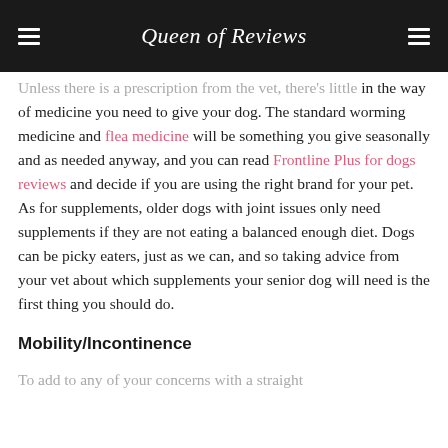Queen of Reviews
Unless there is a prescription from the vet, there's little in the way of medicine you need to give your dog. The standard worming medicine and flea medicine will be something you give seasonally and as needed anyway, and you can read Frontline Plus for dogs reviews and decide if you are using the right brand for your pet. As for supplements, older dogs with joint issues only need supplements if they are not eating a balanced enough diet. Dogs can be picky eaters, just as we can, and so taking advice from your vet about which supplements your senior dog will need is the first thing you should do.
Mobility/Incontinence
To add to any of your concerns with a straight...